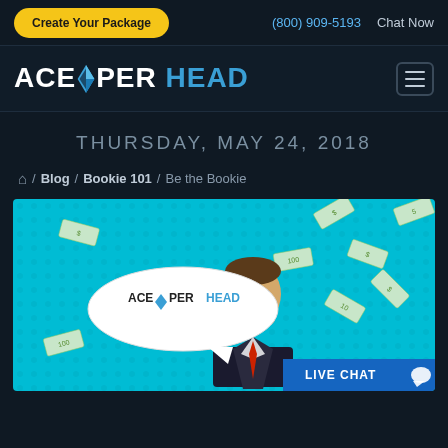Create Your Package | (800) 909-5193 | Chat Now
[Figure (logo): Ace Per Head logo with diamond icon, ACE in white, PER in white, HEAD in blue]
THURSDAY, MAY 24, 2018
Home / Blog / Bookie 101 / Be the Bookie
[Figure (illustration): Pop-art style illustration of a man in a suit looking up at falling money bills, with an Ace Per Head speech bubble, on a cyan/turquoise halftone background. Live Chat button in bottom right corner.]